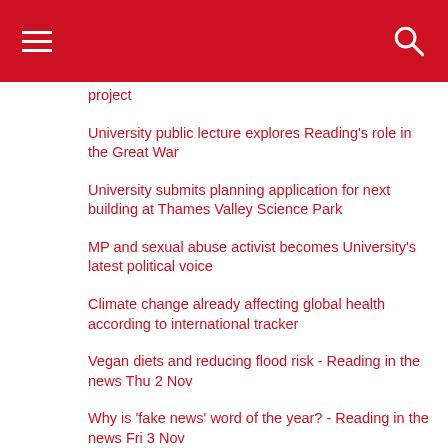[hamburger menu] [search icon]
project
University public lecture explores Reading's role in the Great War
University submits planning application for next building at Thames Valley Science Park
MP and sexual abuse activist becomes University's latest political voice
Climate change already affecting global health according to international tracker
Vegan diets and reducing flood risk - Reading in the news Thu 2 Nov
Why is 'fake news' word of the year? - Reading in the news Fri 3 Nov
Global temperatures and Brexit 'culture wars' – Reading in the news Tues 7 Nov
New exhibition explores Beckett's journey through Nazi Germany
Tate Modern film screenings will explore Brazilian